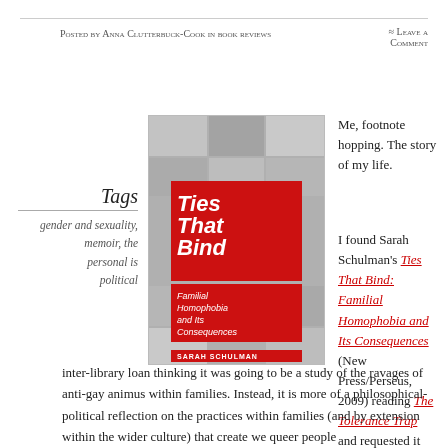Posted by Anna Clutterbuck-Cook in book reviews   ≈ Leave a comment
Tags
gender and sexuality, memoir, the personal is political
[Figure (photo): Book cover of 'Ties That Bind: Familial Homophobia and Its Consequences' by Sarah Schulman, published by New Press/Perseus, 2009. Red and white design with black-and-white photo collage of faces.]
Me, footnote hopping. The story of my life.
I found Sarah Schulman's Ties That Bind: Familial Homophobia and Its Consequences (New Press/Perseus, 2009) reading The Tolerance Trap and requested it inter-library loan thinking it was going to be a study of the ravages of anti-gay animus within families. Instead, it is more of a philosophical-political reflection on the practices within families (and by extension within the wider culture) that create we queer people